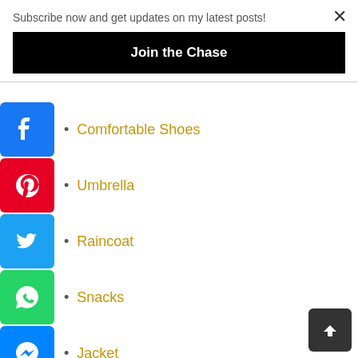Subscribe now and get updates on my latest posts!
Join the Chase
Comfortable Shoes
Umbrella
Raincoat
Snacks
Jacket
ACCOMMODATIONS:
There are no hotels/inns in Buscalan. Instead, local families offer their homes to tourists for a reasonable amount. By the way, included in the